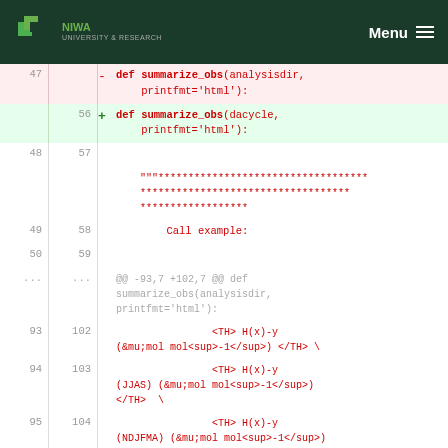NIWA University & Research | Menu
[Figure (screenshot): Code diff showing changes to summarize_obs function, replacing analysisdir parameter with dacycle, with line numbers on left and right sides.]